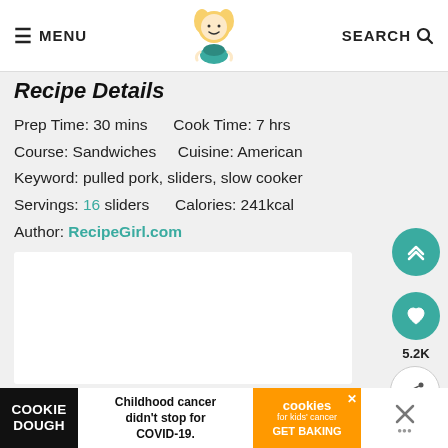≡ MENU  [logo]  SEARCH 🔍
Recipe Details
Prep Time: 30 mins    Cook Time: 7 hrs
Course: Sandwiches    Cuisine: American
Keyword: pulled pork, sliders, slow cooker
Servings: 16 sliders    Calories: 241kcal
Author: RecipeGirl.com
[Figure (other): White content box area (image placeholder)]
[Figure (other): Scroll-to-top teal circular button with up chevrons]
[Figure (other): Heart/favorite teal circular button]
5.2K
[Figure (other): Share white circular button]
[Figure (other): Advertisement bar: COOKIE DOUGH - Childhood cancer didn't stop for COVID-19. cookies for kids' cancer GET BAKING]